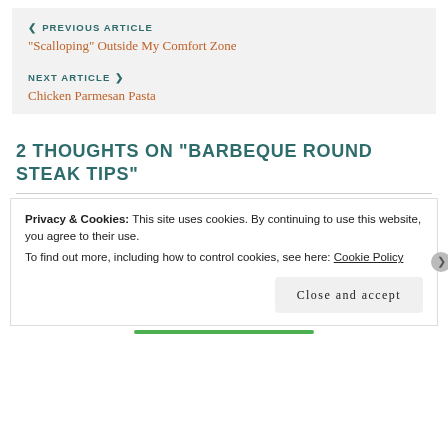❮ PREVIOUS ARTICLE
“Scalloping” Outside My Comfort Zone
NEXT ARTICLE ❯
Chicken Parmesan Pasta
2 THOUGHTS ON “BARBEQUE ROUND STEAK TIPS”
Privacy & Cookies: This site uses cookies. By continuing to use this website, you agree to their use.
To find out more, including how to control cookies, see here: Cookie Policy
Close and accept